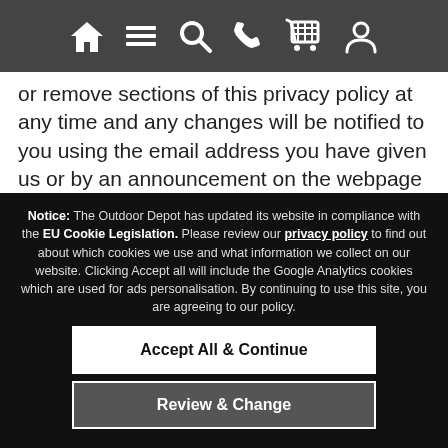[Figure (screenshot): Navigation bar with icons: home, menu (hamburger), search, phone, shopping cart, user/account]
or remove sections of this privacy policy at any time and any changes will be notified to you using the email address you have given us or by an announcement on the webpage available at the "Privacy Policy" link on the site. Your continued use of the site, following the posting of changes to this privacy policy, will mean you accept these changes.
Privacy Queries
Notice: The Outdoor Depot has updated its website in compliance with the EU Cookie Legislation. Please review our privacy policy to find out about which cookies we use and what information we collect on our website. Clicking Accept all will include the Google Analytics cookies which are used for ads personalisation. By continuing to use this site, you are agreeing to our policy.
Accept All & Continue
Review & Change